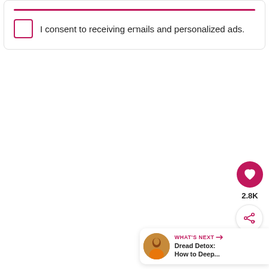I consent to receiving emails and personalized ads.
[Figure (screenshot): Like button (heart icon in pink circle) with count 2.8K and share button below]
[Figure (screenshot): What's Next card showing thumbnail of person and text 'Dread Detox: How to Deep...']